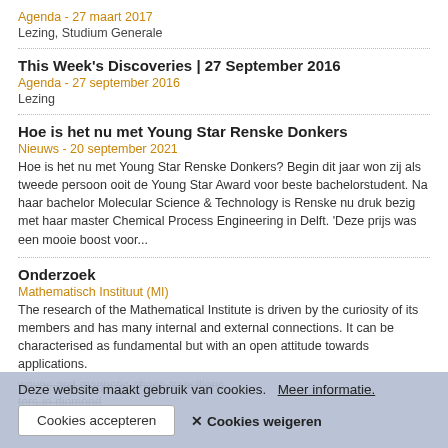Agenda - 27 maart 2017
Lezing, Studium Generale
This Week's Discoveries | 27 September 2016
Agenda - 27 september 2016
Lezing
Hoe is het nu met Young Star Renske Donkers
Nieuws - 20 september 2021
Hoe is het nu met Young Star Renske Donkers? Begin dit jaar won zij als tweede persoon ooit de Young Star Award voor beste bachelorstudent. Na haar bachelor Molecular Science & Technology is Renske nu druk bezig met haar master Chemical Process Engineering in Delft. 'Deze prijs was een mooie boost voor...
Onderzoek
Mathematisch Instituut (MI)
The research of the Mathematical Institute is driven by the curiosity of its members and has many internal and external connections. It can be characterised as fundamental but with an open attitude towards applications.
Deze website maakt gebruik van cookies.  Meer informatie.
Cookies accepteren
✕ Cookies weigeren